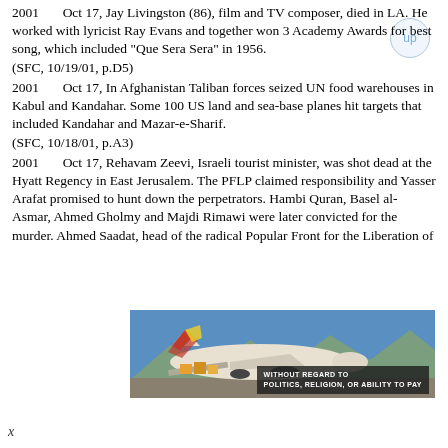2001       Oct 17, Jay Livingston (86), film and TV composer, died in LA. He worked with lyricist Ray Evans and together won 3 Academy Awards for best song, which included "Que Sera Sera" in 1956.
    (SFC, 10/19/01, p.D5)
2001       Oct 17, In Afghanistan Taliban forces seized UN food warehouses in Kabul and Kandahar. Some 100 US land and sea-base planes hit targets that included Kandahar and Mazar-e-Sharif.
    (SFC, 10/18/01, p.A3)
2001       Oct 17, Rehavam Zeevi, Israeli tourist minister, was shot dead at the Hyatt Regency in East Jerusalem. The PFLP claimed responsibility and Yasser Arafat promised to hunt down the perpetrators. Hambi Quran, Basel al-Asmar, Ahmed Gholmy and Majdi Rimawi were later convicted for the murder. Ahmed Saadat, head of the radical Popular Front for the Liberation of
[Figure (photo): Advertisement banner showing a cargo plane being loaded, with text 'WITHOUT REGARD TO POLITICS, RELIGION, OR ABILITY TO PAY']
x